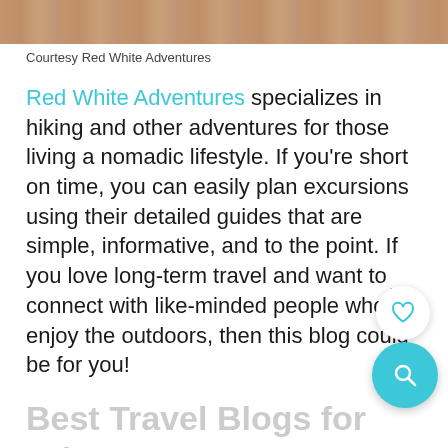[Figure (photo): Cropped photo strip showing legs/feet on stone steps, courtesy Red White Adventures]
Courtesy Red White Adventures
Red White Adventures specializes in hiking and other adventures for those living a nomadic lifestyle. If you're short on time, you can easily plan excursions using their detailed guides that are simple, informative, and to the point. If you love long-term travel and want to connect with like-minded people who enjoy the outdoors, then this blog could be for you!
Best Travel Blogs for Adventure Travel